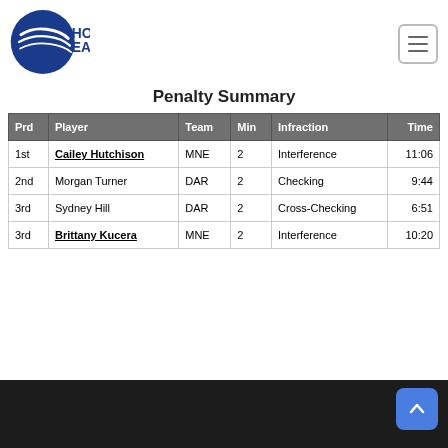[Figure (logo): Hockey East logo — blue circular badge with lines and text HOCKEY EAST]
Penalty Summary
| Prd | Player | Team | Min | Infraction | Time |
| --- | --- | --- | --- | --- | --- |
| 1st | Cailey Hutchison | MNE | 2 | Interference | 11:06 |
| 2nd | Morgan Turner | DAR | 2 | Checking | 9:44 |
| 3rd | Sydney Hill | DAR | 2 | Cross-Checking | 6:51 |
| 3rd | Brittany Kucera | MNE | 2 | Interference | 10:20 |